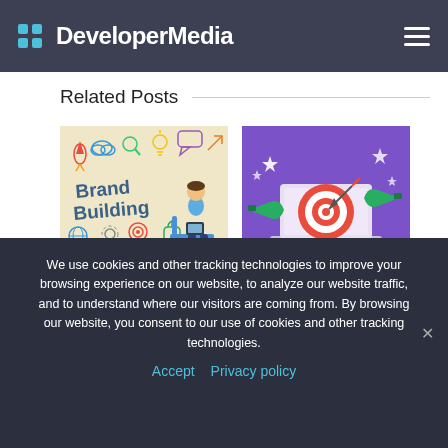DeveloperMedia
Related Posts
[Figure (photo): Brand Building illustration on a wall with a woman sitting in a chair]
[Figure (photo): 3D illustration of a target/bullseye on a laptop with megaphones and arrows on purple background]
We use cookies and other tracking technologies to improve your browsing experience on our website, to analyze our website traffic, and to understand where our visitors are coming from. By browsing our website, you consent to our use of cookies and other tracking technologies.
Accept  Privacy policy